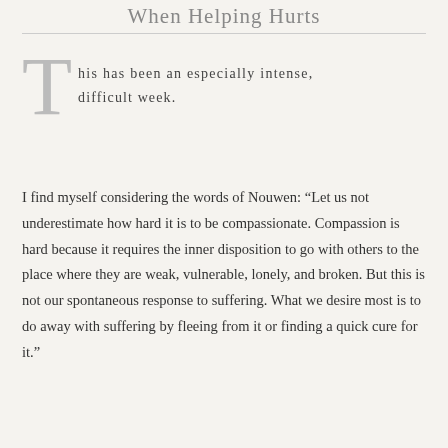When Helping Hurts
This has been an especially intense, difficult week.
I find myself considering the words of Nouwen: “Let us not underestimate how hard it is to be compassionate. Compassion is hard because it requires the inner disposition to go with others to the place where they are weak, vulnerable, lonely, and broken. But this is not our spontaneous response to suffering. What we desire most is to do away with suffering by fleeing from it or finding a quick cure for it.”